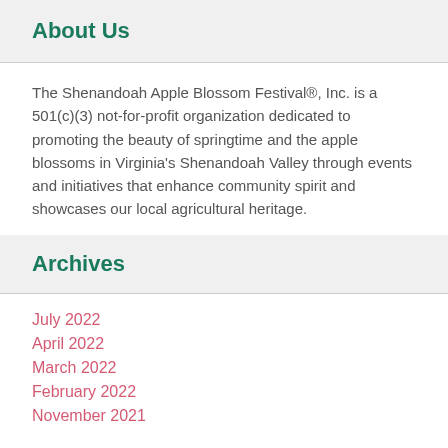About Us
The Shenandoah Apple Blossom Festival®, Inc. is a 501(c)(3) not-for-profit organization dedicated to promoting the beauty of springtime and the apple blossoms in Virginia's Shenandoah Valley through events and initiatives that enhance community spirit and showcases our local agricultural heritage.
Archives
July 2022
April 2022
March 2022
February 2022
November 2021